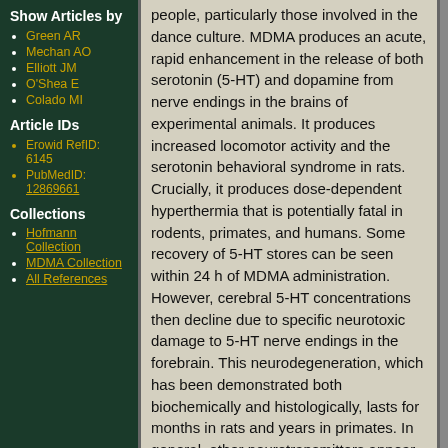Show Articles by
Green AR
Mechan AO
Elliott JM
O'Shea E
Colado MI
Article IDs
Erowid RefID: 6145
PubMedID: 12869661
Collections
Hofmann Collection
MDMA Collection
All References
people, particularly those involved in the dance culture. MDMA produces an acute, rapid enhancement in the release of both serotonin (5-HT) and dopamine from nerve endings in the brains of experimental animals. It produces increased locomotor activity and the serotonin behavioral syndrome in rats. Crucially, it produces dose-dependent hyperthermia that is potentially fatal in rodents, primates, and humans. Some recovery of 5-HT stores can be seen within 24 h of MDMA administration. However, cerebral 5-HT concentrations then decline due to specific neurotoxic damage to 5-HT nerve endings in the forebrain. This neurodegeneration, which has been demonstrated both biochemically and histologically, lasts for months in rats and years in primates. In general, other neurotransmitters appear unaffected. In contrast, MDMA